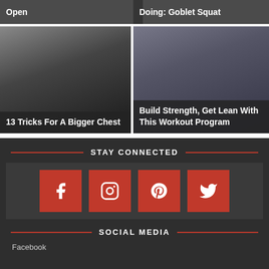[Figure (screenshot): Article card banner: Open]
[Figure (screenshot): Article card banner: Doing: Goblet Squat]
[Figure (photo): Black and white photo of a boxer, article: 13 Tricks For A Bigger Chest]
[Figure (photo): Photo of a weightlifter, article: Build Strength, Get Lean With This Workout Program]
STAY CONNECTED
[Figure (infographic): Social media icons: Facebook, Instagram, Pinterest, Twitter (red square buttons)]
SOCIAL MEDIA
Facebook